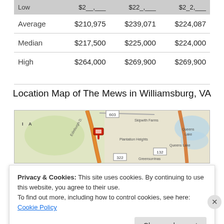|  | Col1 | Col2 | Col3 |
| --- | --- | --- | --- |
| Low | $2__,___ | $22_,___ | $2_2,___ |
| Average | $210,975 | $239,071 | $224,087 |
| Median | $217,500 | $225,000 | $224,000 |
| High | $264,000 | $269,900 | $269,900 |
Location Map of The Mews in Williamsburg, VA
[Figure (map): Map showing location of The Mews in Williamsburg, VA with a red pin marker near Edinburgh Drive, Skipwith Farms, Plantation Heights area. Roads 603, 322, 132 visible. Queens Lake area shown.]
Privacy & Cookies: This site uses cookies. By continuing to use this website, you agree to their use.
To find out more, including how to control cookies, see here: Cookie Policy